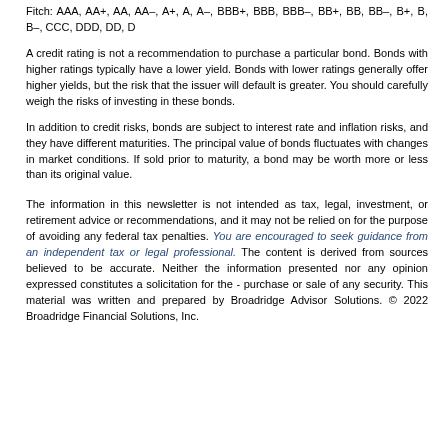Fitch: AAA, AA+, AA, AA–, A+, A, A–, BBB+, BBB, BBB–, BB+, BB, BB–, B+, B, B–, CCC, DDD, DD, D
A credit rating is not a recommendation to purchase a particular bond. Bonds with higher ratings typically have a lower yield. Bonds with lower ratings generally offer higher yields, but the risk that the issuer will default is greater. You should carefully weigh the risks of investing in these bonds.
In addition to credit risks, bonds are subject to interest rate and inflation risks, and they have different maturities. The principal value of bonds fluctuates with changes in market conditions. If sold prior to maturity, a bond may be worth more or less than its original value.
The information in this newsletter is not intended as tax, legal, investment, or retirement advice or recommendations, and it may not be relied on for the purpose of avoiding any federal tax penalties. You are encouraged to seek guidance from an independent tax or legal professional. The content is derived from sources believed to be accurate. Neither the information presented nor any opinion expressed constitutes a solicitation for the purchase or sale of any security. This material was written and prepared by Broadridge Advisor Solutions. © 2022 Broadridge Financial Solutions, Inc.